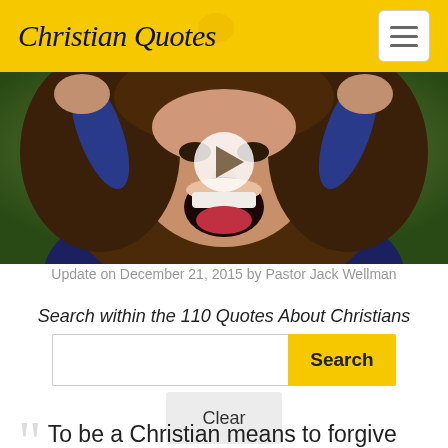Christian Quotes
[Figure (photo): Woman with mouth open wide, hands on head, screaming expression, with a play button overlay indicating a video thumbnail]
Update on December 21, 2015 by Pastor Jack Wellman
Search within the 110 Quotes About Christians
To be a Christian means to forgive